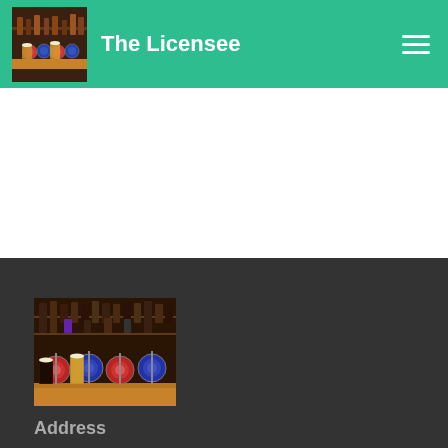The Licensee
[Figure (photo): Pub bar scene with beer taps and glasses on a wooden bar counter, dark background]
Address